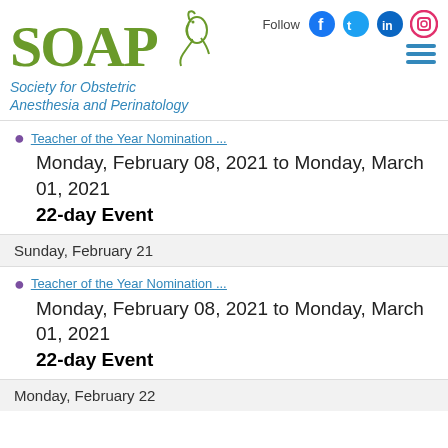[Figure (logo): SOAP logo with horse head silhouette and social media icons (Facebook, Twitter, LinkedIn, Instagram) and hamburger menu]
Teacher of the Year Nomination ...
Monday, February 08, 2021 to Monday, March 01, 2021
22-day Event
Sunday, February 21
Teacher of the Year Nomination ...
Monday, February 08, 2021 to Monday, March 01, 2021
22-day Event
Monday, February 22